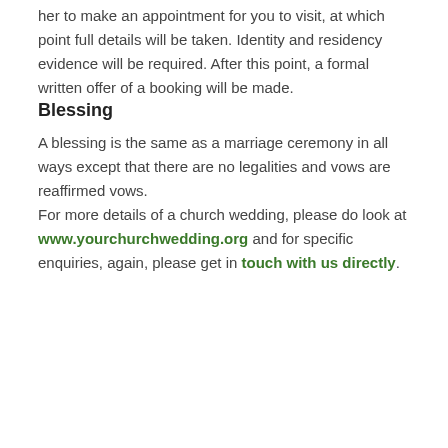her to make an appointment for you to visit, at which point full details will be taken. Identity and residency evidence will be required. After this point, a formal written offer of a booking will be made.
Blessing
A blessing is the same as a marriage ceremony in all ways except that there are no legalities and vows are reaffirmed vows.
For more details of a church wedding, please do look at www.yourchurchwedding.org and for specific enquiries, again, please get in touch with us directly.